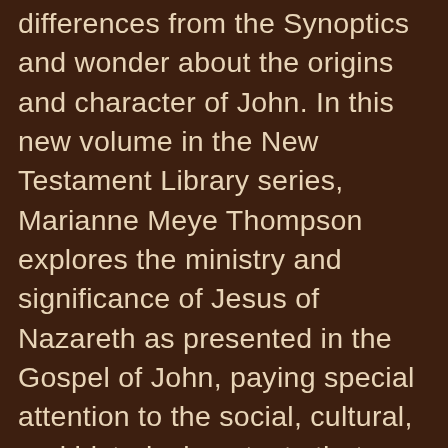differences from the Synoptics and wonder about the origins and character of John. In this new volume in the New Testament Library series, Marianne Meye Thompson explores the ministry and significance of Jesus of Nazareth as presented in the Gospel of John, paying special attention to the social, cultural, and historical contexts that produced it. John's Gospel, Thompson posits, is the product of a social-cultural world whose language, commitments, and contours must be investigated in order to read John's narrative well. In doing so, Thompson studies the narrative, structure, central themes, and theological and rhetorical arguments found in the Fourth Gospel. Thompson's expert commentary unpacks and illuminates John's unique witness to Jesus--who he was, what he did, and what that means. The New Testament Library series offers authoritative commentary on every book and major aspect of the New Testament, providing fresh translations based on the best available ancient manuscripts,